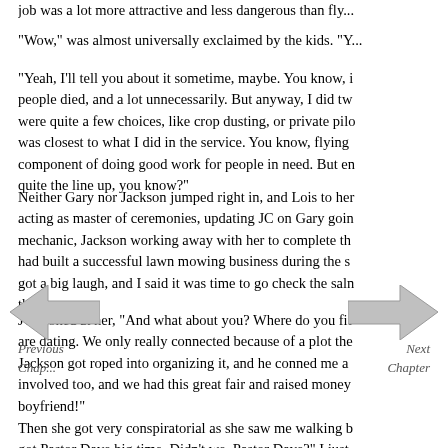job was a lot more attractive and less dangerous than fly...
"Wow," was almost universally exclaimed by the kids. "Y...
"Yeah, I'll tell you about it sometime, maybe. You know, i... people died, and a lot unnecessarily. But anyway, I did tw... were quite a few choices, like crop dusting, or private pilo... was closest to what I did in the service. You know, flying... component of doing good work for people in need. But en... quite the line up, you know?"
Neither Gary nor Jackson jumped right in, and Lois to he... acting as master of ceremonies, updating JC on Gary goin... mechanic, Jackson working away with her to complete th... had built a successful lawn mowing business during the s... got a big laugh, and I said it was time to go check the sal... the door.
[Figure (illustration): Navigation arrows: a left-pointing arrow labeled 'Previous Chapter' on the left and a right-pointing arrow labeled 'Next Chapter' on the right]
JC looked at her, "And what about you? Where do you fit... are dating. We only really connected because of a plot the... Jackson got roped into organizing it, and he conned me an... involved too, and we had this great fair and raised money... boyfriend!"
Then she got very conspiratorial as she saw me walking b... got Pastor Dave big time. Didn't we, Pastor Dave?" I just...